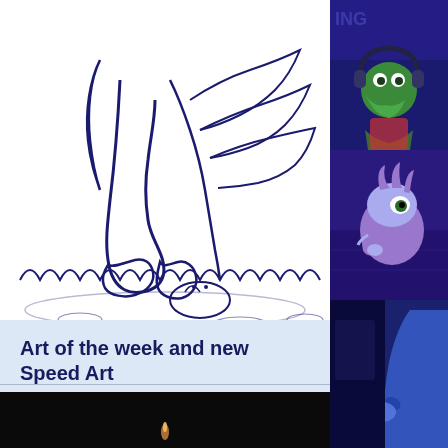[Figure (illustration): Line art sketch of cartoon characters (Sonic-style) in navy blue ink on white background, showing feet/legs standing on grass with circular shapes on the ground]
Art of the week and new Speed Art
Hello! Well this week has been very productive, and I hope it's been treating you kindly. The warm weather has been making it's way back...
[Figure (illustration): Cartoon illustration of a green crocodile/frog character with headphones, in a dark blue/purple gaming scene with text in background]
[Figure (illustration): Cartoon illustration of Sonic the Hedgehog in purple/blue tones, sitting and thinking with chin resting on hand]
[Figure (illustration): Cartoon illustration showing blue-tinted character close-up with arm/hand visible]
[Figure (photo): Dark bottom strip with small light source visible against black background]